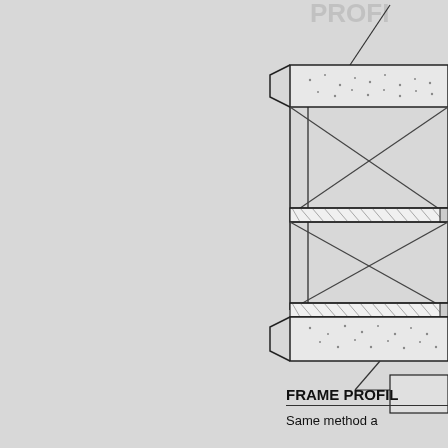[Figure (engineering-diagram): Partial engineering drawing showing a frame profile cross-section detail. The right portion of the page shows a structural frame with diagonal bracing (X-pattern cross-bracing), horizontal hatch-patterned elements (beams/flanges), and concrete/textured top and bottom plates. A leader line points to a detail at the top right. The diagram is cut off on the right edge.]
FRAME PROFIL
Same method a